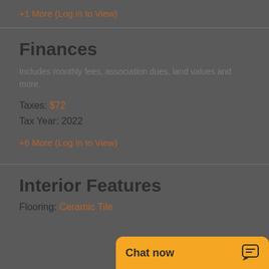+1 More (Log in to View)
Finances
Includes monthly fees, association dues, land values and more.
Taxes: $72
Tax Year: 2022
+6 More (Log in to View)
Interior Features
Flooring: Ceramic Tile
Chat now